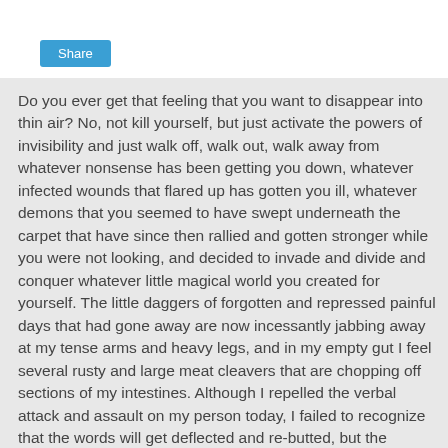Share
Do you ever get that feeling that you want to disappear into thin air? No, not kill yourself, but just activate the powers of invisibility and just walk off, walk out, walk away from whatever nonsense has been getting you down, whatever infected wounds that flared up has gotten you ill, whatever demons that you seemed to have swept underneath the carpet that have since then rallied and gotten stronger while you were not looking, and decided to invade and divide and conquer whatever little magical world you created for yourself. The little daggers of forgotten and repressed painful days that had gone away are now incessantly jabbing away at my tense arms and heavy legs, and in my empty gut I feel several rusty and large meat cleavers that are chopping off sections of my intestines. Although I repelled the verbal attack and assault on my person today, I failed to recognize that the words will get deflected and re-butted, but the hidden messages and meaning sneak past the gate keepers, and the sincerity of the biting words would hurtfully...